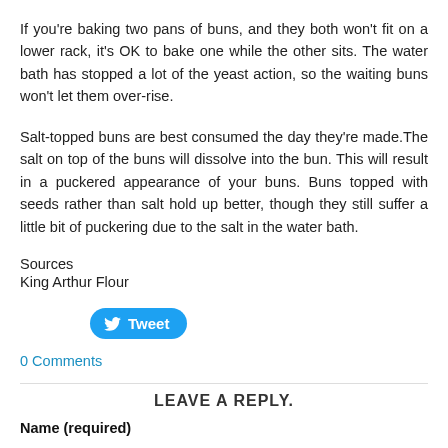If you're baking two pans of buns, and they both won't fit on a lower rack, it's OK to bake one while the other sits. The water bath has stopped a lot of the yeast action, so the waiting buns won't let them over-rise.
Salt-topped buns are best consumed the day they're made.The salt on top of the buns will dissolve into the bun. This will result in a puckered appearance of your buns. Buns topped with seeds rather than salt hold up better, though they still suffer a little bit of puckering due to the salt in the water bath.
Sources
King Arthur Flour
[Figure (other): Tweet button]
0 Comments
LEAVE A REPLY.
Name (required)